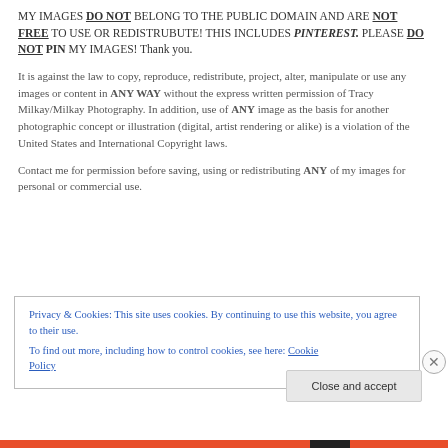MY IMAGES DO NOT BELONG TO THE PUBLIC DOMAIN AND ARE NOT FREE TO USE OR REDISTRUBUTE! THIS INCLUDES PINTEREST. PLEASE DO NOT PIN MY IMAGES! Thank you.
It is against the law to copy, reproduce, redistribute, project, alter, manipulate or use any images or content in ANY WAY without the express written permission of Tracy Milkay/Milkay Photography. In addition, use of ANY image as the basis for another photographic concept or illustration (digital, artist rendering or alike) is a violation of the United States and International Copyright laws.
Contact me for permission before saving, using or redistributing ANY of my images for personal or commercial use.
Privacy & Cookies: This site uses cookies. By continuing to use this website, you agree to their use. To find out more, including how to control cookies, see here: Cookie Policy